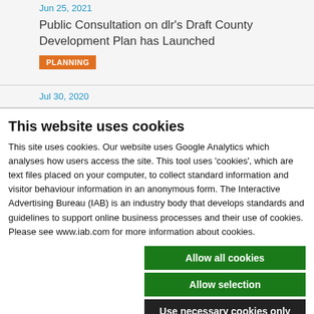Jun 25, 2021
Public Consultation on dlr's Draft County Development Plan has Launched
PLANNING
Jul 30, 2020
This website uses cookies
This site uses cookies. Our website uses Google Analytics which analyses how users access the site. This tool uses 'cookies', which are text files placed on your computer, to collect standard information and visitor behaviour information in an anonymous form. The Interactive Advertising Bureau (IAB) is an industry body that develops standards and guidelines to support online business processes and their use of cookies. Please see www.iab.com for more information about cookies.
Allow all cookies
Allow selection
Use necessary cookies only
Necessary  Preferences  Statistics  Marketing  Show details